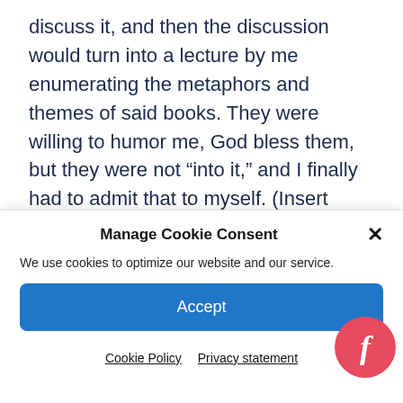discuss it, and then the discussion would turn into a lecture by me enumerating the metaphors and themes of said books. They were willing to humor me, God bless them, but they were not “into it,” and I finally had to admit that to myself. (Insert chuckle) It’s OK. Really. It forced me to branch out.
Manage Cookie Consent
We use cookies to optimize our website and our service.
Accept
Cookie Policy   Privacy statement